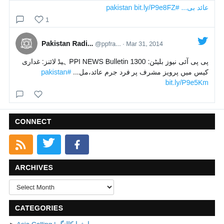[Figure (screenshot): Partial tweet with Urdu text and hashtag #pakistan bit.ly/P9e8FZ, with 1 like shown]
[Figure (screenshot): Tweet from Pakistan Radi... @ppfra... Mar 31, 2014 with Urdu text about PPI NEWS Bulletin 1300 and #pakistan bit.ly/P9e5Km]
CONNECT
[Figure (infographic): Three social media icons: RSS (orange), Twitter (blue), Facebook (blue)]
ARCHIVES
[Figure (screenshot): Select Month dropdown]
CATEGORIES
Asia Calling | ایشیا کالنگ